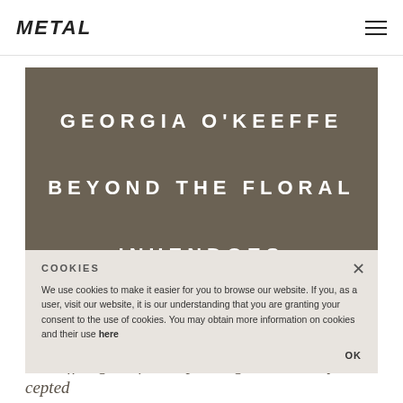METAL
GEORGIA O'KEEFFE BEYOND THE FLORAL INUENDOES
COOKIES

We use cookies to make it easier for you to browse our website. If you, as a user, visit our website, it is our understanding that you are granting your consent to the use of cookies. You may obtain more information on cookies and their use here

OK
'Despite the artist denying this very fact, Georgia O'Keeffe's giant flower paintings were widely accepted